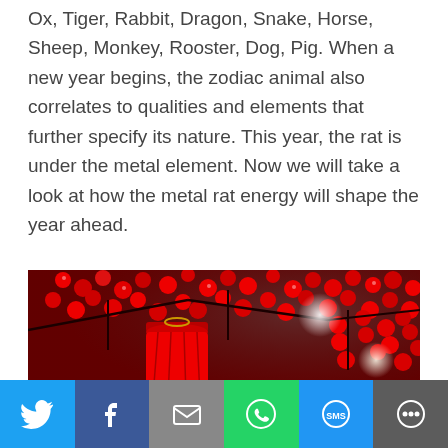Ox, Tiger, Rabbit, Dragon, Snake, Horse, Sheep, Monkey, Rooster, Dog, Pig. When a new year begins, the zodiac animal also correlates to qualities and elements that further specify its nature. This year, the rat is under the metal element. Now we will take a look at how the metal rat energy will shape the year ahead.
[Figure (photo): A red Chinese lantern surrounded by red berries and branches, with lights in the background — Chinese New Year themed photograph.]
Social sharing bar with Twitter, Facebook, Email, WhatsApp, SMS, More buttons